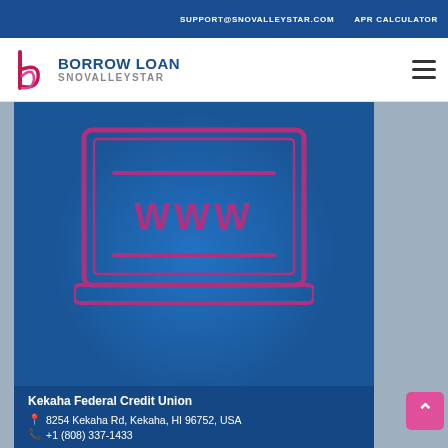SUPPORT@SNOVALLEYSTAR.COM   APR CALCULATOR
[Figure (logo): Borrow Loan SnoValleyStar logo with stylized letter b in pink/magenta and company name in dark blue and grey]
[Figure (illustration): Dark blue background with circle gradient, pink outlined laptop illustration displaying WWW text, overlaid with contact info for Kekaha Federal Credit Union]
Kekaha Federal Credit Union
📍 8254 Kekaha Rd, Kekaha, HI 96752, USA
📞 +1 (808) 337-1433